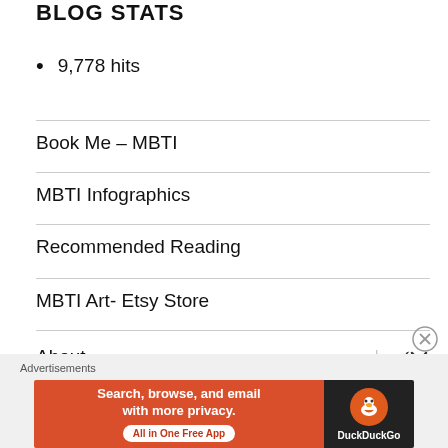BLOG STATS
9,778 hits
Book Me – MBTI
MBTI Infographics
Recommended Reading
MBTI Art- Etsy Store
About
[Figure (infographic): DuckDuckGo advertisement banner: 'Search, browse, and email with more privacy. All in One Free App' with DuckDuckGo logo on dark background]